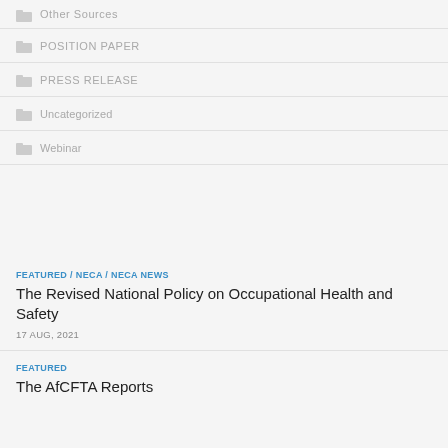Other Sources
POSITION PAPER
PRESS RELEASE
Uncategorized
Webinar
FEATURED / NECA / NECA NEWS
The Revised National Policy on Occupational Health and Safety
17 AUG, 2021
FEATURED
The AfCFTA Reports